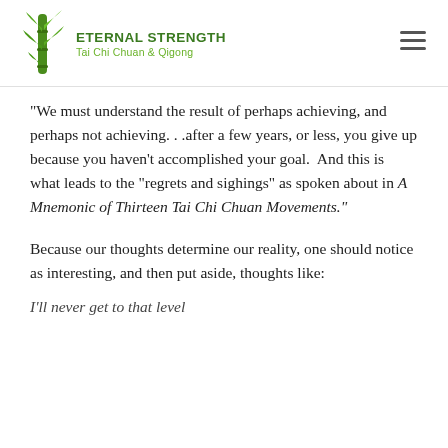[Figure (logo): Eternal Strength Tai Chi Chuan & Qigong logo with bamboo illustration]
“We must understand the result of perhaps achieving, and perhaps not achieving. . .after a few years, or less, you give up because you haven’t accomplished your goal.  And this is what leads to the “regrets and sighings” as spoken about in A Mnemonic of Thirteen Tai Chi Chuan Movements.”
Because our thoughts determine our reality, one should notice as interesting, and then put aside, thoughts like:
I’ll never get to that level